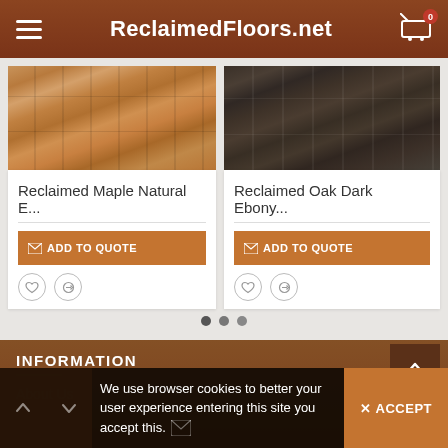ReclaimedFloors.net
[Figure (photo): Reclaimed Maple Natural E... product image showing light brown wood flooring]
Reclaimed Maple Natural E...
ADD TO QUOTE
[Figure (photo): Reclaimed Oak Dark Ebony... product image showing dark grey/brown wood flooring]
Reclaimed Oak Dark Ebony...
ADD TO QUOTE
INFORMATION
About Us
We use browser cookies to better your user experience entering this site you accept this.
ACCEPT